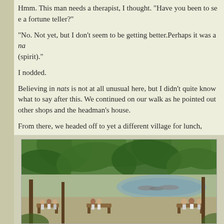Hmm. This man needs a therapist, I thought. "Have you been to see a fortune teller?"
"No. Not yet, but I don't seem to be getting better. Perhaps it was a nat (spirit)."
I nodded.
Believing in nats is not at all unusual here, but I didn't quite know what to say after this. We continued on our walk as he pointed out other shops and the headman's house.
From there, we headed off to yet a different village for lunch,
[Figure (photo): Outdoor scene with people sitting on benches under large green trees near a river with boats, viewed from a shaded area]